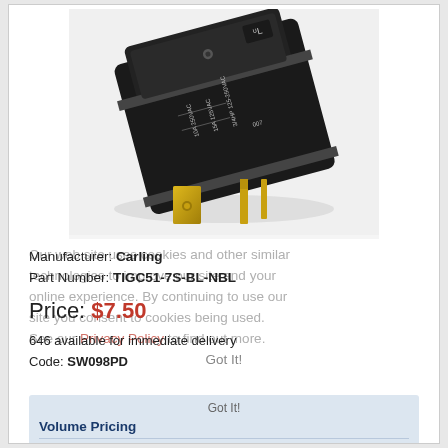[Figure (photo): Black rocker switch with gold/brass blade terminals, showing ratings: 10A 250VAC, 15A 125VAC, 3/4HP 125-250VAC]
Manufacturer: Carling
Part Number: TIGC51-7S-BL-NBL
Price: $7.50
646 available for immediate delivery
Code: SW098PD
| Quantity | Price Each |
| --- | --- |
| 1-9 | $7.50 |